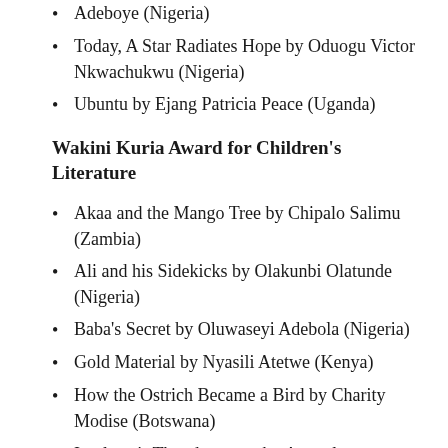Adeboye (Nigeria)
Today, A Star Radiates Hope by Oduogu Victor Nkwachukwu (Nigeria)
Ubuntu by Ejang Patricia Peace (Uganda)
Wakini Kuria Award for Children's Literature
Akaa and the Mango Tree by Chipalo Salimu (Zambia)
Ali and his Sidekicks by Olakunbi Olatunde (Nigeria)
Baba's Secret by Oluwaseyi Adebola (Nigeria)
Gold Material by Nyasili Atetwe (Kenya)
How the Ostrich Became a Bird by Charity Modise (Botswana)
Ireoluwa's Thunderstones by Aanuoluwapo Adeboye (Nigeria)